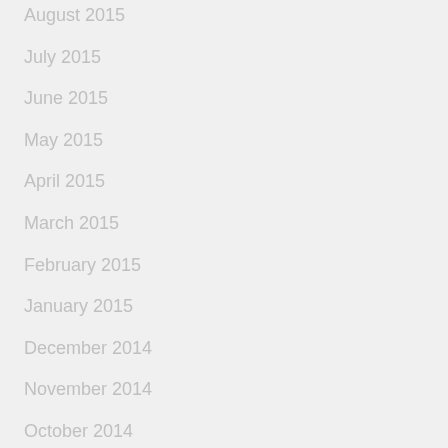August 2015
July 2015
June 2015
May 2015
April 2015
March 2015
February 2015
January 2015
December 2014
November 2014
October 2014
September 2014
August 2014